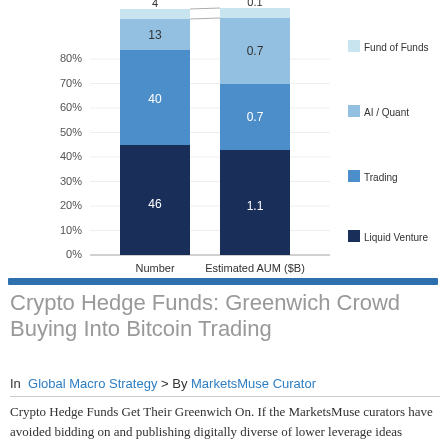[Figure (stacked-bar-chart): ]
Crypto Hedge Funds: Greenwich Crowd Buying Into Bitcoin Trading
In Global Macro Strategy > By MarketsMuse Curator
Crypto Hedge Funds Get Their Greenwich On. If the MarketsMuse curators have avoided bidding on and publishing digitally diverse of lower leverage ideas...